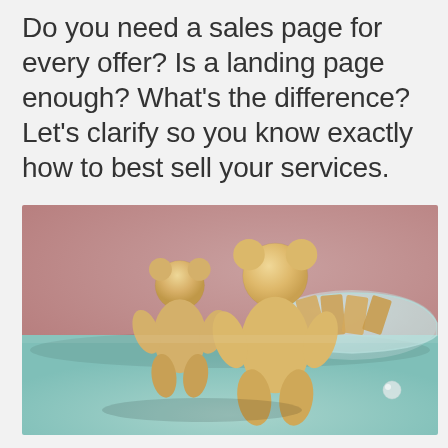Do you need a sales page for every offer? Is a landing page enough? What's the difference? Let's clarify so you know exactly how to best sell your services.
[Figure (photo): Close-up photo of two teddy bear-shaped shortbread cookies standing upright on a light teal/mint surface, with a glass dish containing more crackers/cookies visible in the blurred background. The backdrop is a soft pink-mauve color.]